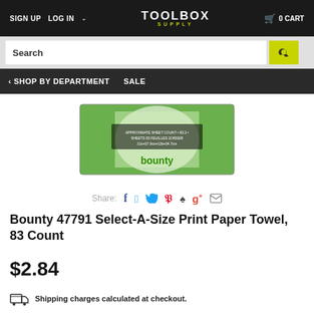SIGN UP  LOG IN  TOOLBOX SUPPLY  0 CART
Search
SHOP BY DEPARTMENT  SALE
[Figure (photo): Bounty paper towel product image with label text]
Share:
Bounty 47791 Select-A-Size Print Paper Towel, 83 Count
$2.84
Shipping charges calculated at checkout.